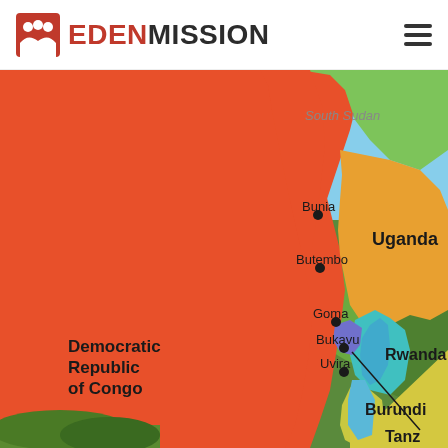EDEN MISSION
[Figure (map): Colored map of Central/East Africa showing Democratic Republic of Congo (orange/red, large area on left), Uganda (orange, upper right), South Sudan (green, upper center-right), Rwanda (light blue/teal, right center), Burundi (yellow-green, lower right), and Tanzania (yellow, bottom right). City markers shown: Bunia, Butembo, Goma, Bukavu, Uvira. Labels in black text.]